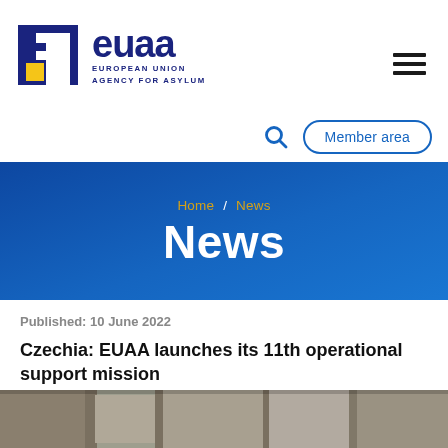[Figure (logo): EUAA (European Union Agency for Asylum) logo: dark navy blue square with letter F cutout and yellow square accent, followed by navy text 'euaa' and below 'EUROPEAN UNION AGENCY FOR ASYLUM']
Home / News
News
Published: 10 June 2022
Czechia: EUAA launches its 11th operational support mission
[Figure (photo): Partial photo of a stone building facade with architectural column details]